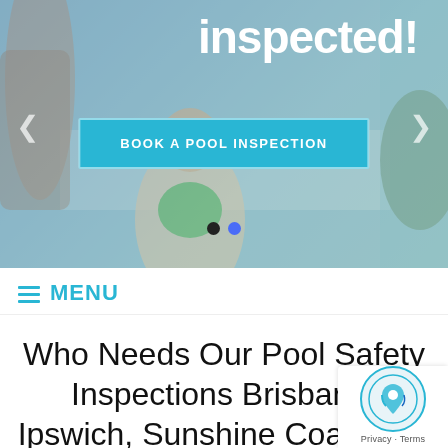[Figure (photo): Hero image of children at a pool/glass barrier, partially cropped. Text 'inspected!' visible at top right. A teal 'BOOK A POOL INSPECTION' button overlaid on image. Two carousel navigation dots below button. Left and right arrow navigation buttons on sides.]
MENU
Who Needs Our Pool Safety Inspections Brisbane, Ipswich, Sunshine Coast and Gold Coast Services?
[Figure (logo): Google Maps/Street View icon in bottom right corner with 'Privacy · Terms' text below.]